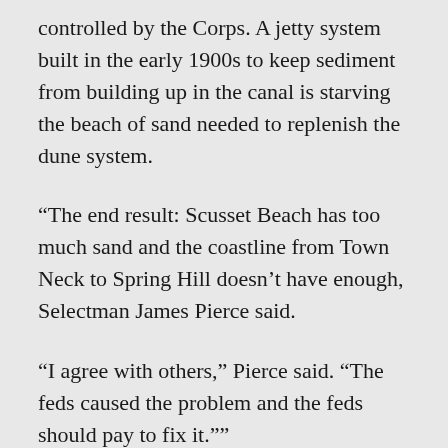controlled by the Corps. A jetty system built in the early 1900s to keep sediment from building up in the canal is starving the beach of sand needed to replenish the dune system.
“The end result: Scusset Beach has too much sand and the coastline from Town Neck to Spring Hill doesn’t have enough, Selectman James Pierce said.
“I agree with others,” Pierce said. “The feds caused the problem and the feds should pay to fix it.””
And speaking of Nantucket, fans of whaling